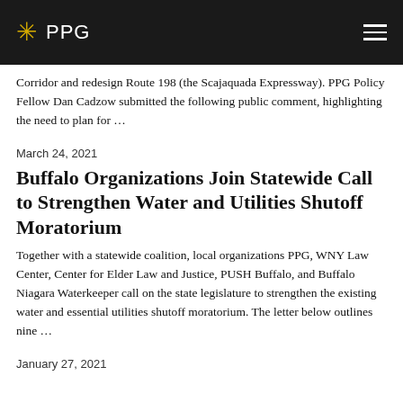PPG
Corridor and redesign Route 198 (the Scajaquada Expressway). PPG Policy Fellow Dan Cadzow submitted the following public comment, highlighting the need to plan for …
March 24, 2021
Buffalo Organizations Join Statewide Call to Strengthen Water and Utilities Shutoff Moratorium
Together with a statewide coalition, local organizations PPG, WNY Law Center, Center for Elder Law and Justice, PUSH Buffalo, and Buffalo Niagara Waterkeeper call on the state legislature to strengthen the existing water and essential utilities shutoff moratorium. The letter below outlines nine …
January 27, 2021